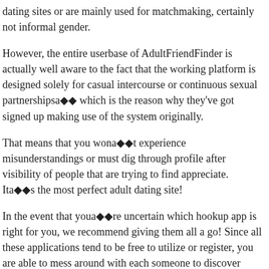dating sites or are mainly used for matchmaking, certainly not informal gender.
However, the entire userbase of AdultFriendFinder is actually well aware to the fact that the working platform is designed solely for casual intercourse or continuous sexual partnershipsa▦▦ which is the reason why they've got signed up making use of the system originally.
That means that you wona▦▦t experience misunderstandings or must dig through profile after visibility of people that are trying to find appreciate. Ita▦▦s the most perfect adult dating site!
In the event that youa▦▦re uncertain which hookup app is right for you, we recommend giving them all a go! Since all these applications tend to be free to utilize or register, you are able to mess around with each someone to discover which program provides ideal results for your requirements.